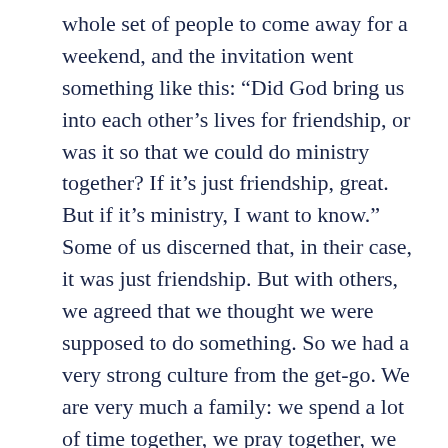whole set of people to come away for a weekend, and the invitation went something like this: “Did God bring us into each other’s lives for friendship, or was it so that we could do ministry together? If it’s just friendship, great. But if it’s ministry, I want to know.” Some of us discerned that, in their case, it was just friendship. But with others, we agreed that we thought we were supposed to do something. So we had a very strong culture from the get-go. We are very much a family: we spend a lot of time together, we pray together, we eat together. We build all that into our lives.
To reference the six crucial questions from The Advantage again, we have three core values that